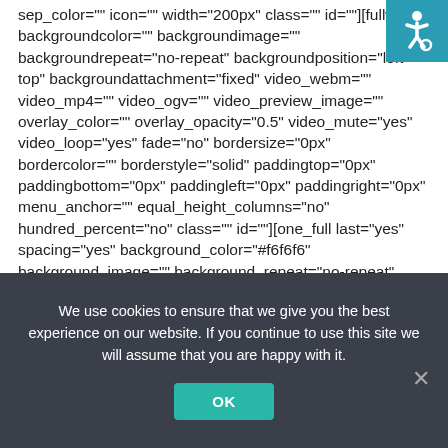sep_color="" icon="" width="200px" class="" id=""][fullwidth backgroundcolor="" backgroundimage="" backgroundrepeat="no-repeat" backgroundposition="left top" backgroundattachment="fixed" video_webm="" video_mp4="" video_ogv="" video_preview_image="" overlay_color="" overlay_opacity="0.5" video_mute="yes" video_loop="yes" fade="no" bordersize="0px" bordercolor="" borderstyle="solid" paddingtop="0px" paddingbottom="0px" paddingleft="0px" paddingright="0px" menu_anchor="" equal_height_columns="no" hundred_percent="no" class="" id=""][one_full last="yes" spacing="yes" background_color="#f6f6f6" background_image="" background_repeat="no-repeat" background_position="left
[Figure (illustration): Accessibility icon - white wheelchair symbol on teal/blue background square in top right corner]
We use cookies to ensure that we give you the best experience on our website. If you continue to use this site we will assume that you are happy with it.